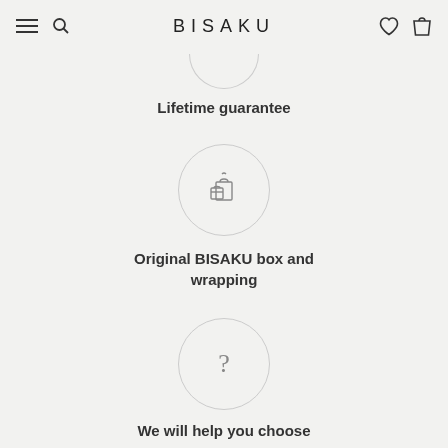BISAKU
Lifetime guarantee
[Figure (illustration): Circle icon with shopping bags illustration]
Original BISAKU box and wrapping
[Figure (illustration): Circle icon with question mark]
We will help you choose